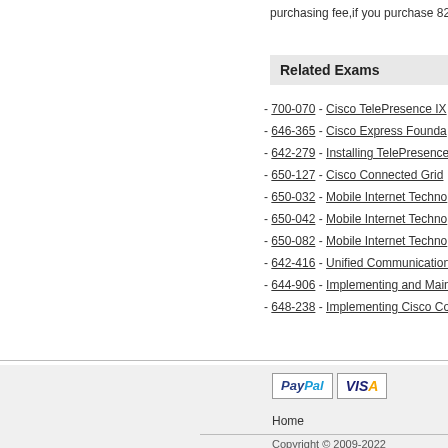purchasing fee,if you purchase 820-6
Related Exams
- 700-070 - Cisco TelePresence IX
- 646-365 - Cisco Express Founda
- 642-279 - Installing TelePresence
- 650-127 - Cisco Connected Grid
- 650-032 - Mobile Internet Techno
- 650-042 - Mobile Internet Techno
- 650-082 - Mobile Internet Techno
- 642-416 - Unified Communication
- 644-906 - Implementing and Main
- 648-238 - Implementing Cisco Co
Home   Copyright © 2009-2022